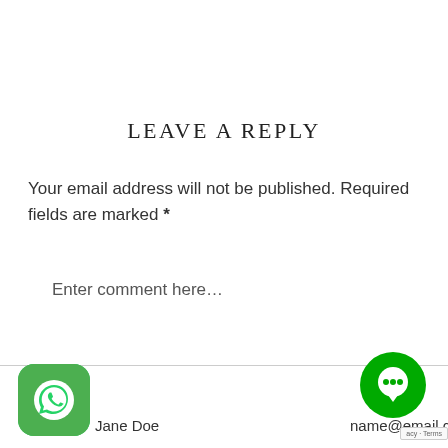LEAVE A REPLY
Your email address will not be published. Required fields are marked *
Enter comment here…
Jane Doe
name@email.c
[Figure (logo): WhatsApp green app icon with phone handset]
[Figure (logo): Green circular chat/messaging button icon]
acy · Terms